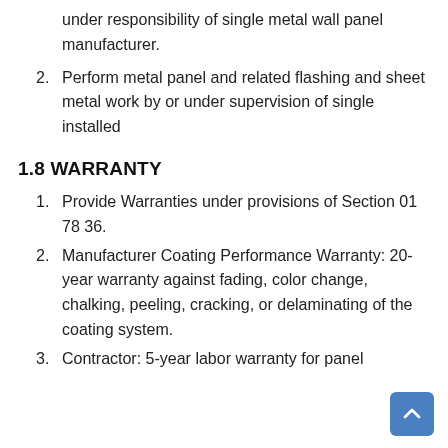under responsibility of single metal wall panel manufacturer.
2. Perform metal panel and related flashing and sheet metal work by or under supervision of single installed
1.8 WARRANTY
1. Provide Warranties under provisions of Section 01 78 36.
2. Manufacturer Coating Performance Warranty: 20-year warranty against fading, color change, chalking, peeling, cracking, or delaminating of the coating system.
3. Contractor: 5-year labor warranty for panel